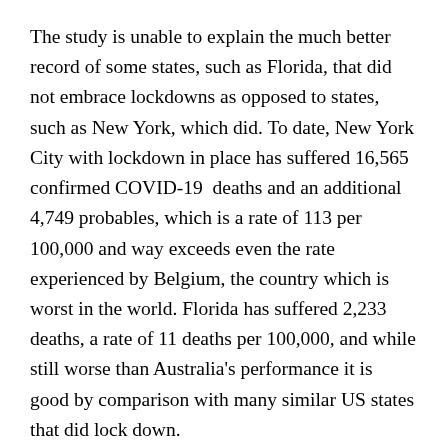The study is unable to explain the much better record of some states, such as Florida, that did not embrace lockdowns as opposed to states, such as New York, which did. To date, New York City with lockdown in place has suffered 16,565 confirmed COVID-19 deaths and an additional 4,749 probables, which is a rate of 113 per 100,000 and way exceeds even the rate experienced by Belgium, the country which is worst in the world. Florida has suffered 2,233 deaths, a rate of 11 deaths per 100,000, and while still worse than Australia's performance it is good by comparison with many similar US states that did lock down.
The differences are in part due to philosophy. New York's Governor Andrew Cuomo declared a universal